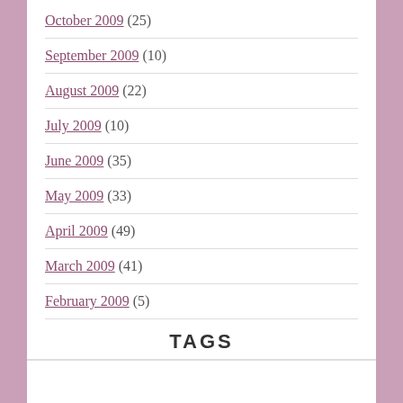October 2009 (25)
September 2009 (10)
August 2009 (22)
July 2009 (10)
June 2009 (35)
May 2009 (33)
April 2009 (49)
March 2009 (41)
February 2009 (5)
TAGS